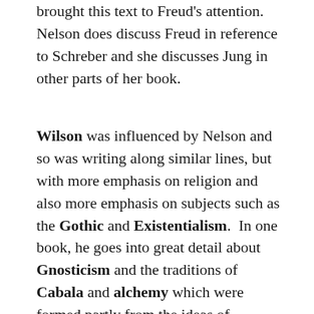brought this text to Freud's attention. Nelson does discuss Freud in reference to Schreber and she discusses Jung in other parts of her book.
Wilson was influenced by Nelson and so was writing along similar lines, but with more emphasis on religion and also more emphasis on subjects such as the Gothic and Existentialism. In one book, he goes into great detail about Gnosticism and the traditions of Cabala and alchemy which were formed partly from the ideas of Gnosticism. Wilson also said he was influenced by Marina Warner who is also mentioned in